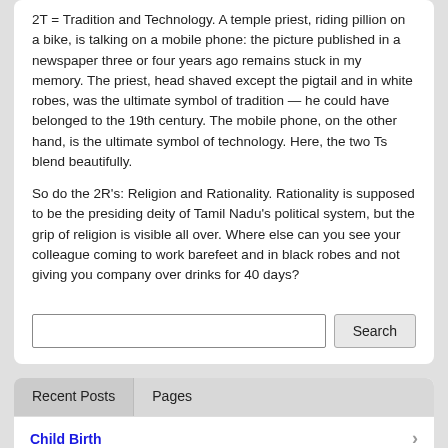2T = Tradition and Technology. A temple priest, riding pillion on a bike, is talking on a mobile phone: the picture published in a newspaper three or four years ago remains stuck in my memory. The priest, head shaved except the pigtail and in white robes, was the ultimate symbol of tradition — he could have belonged to the 19th century. The mobile phone, on the other hand, is the ultimate symbol of technology. Here, the two Ts blend beautifully.
So do the 2R's: Religion and Rationality. Rationality is supposed to be the presiding deity of Tamil Nadu's political system, but the grip of religion is visible all over. Where else can you see your colleague coming to work barefeet and in black robes and not giving you company over drinks for 40 days?
Posted by che_bishwanath on August 15, 2006.
Categories: Uncategorized
Search
Recent Posts
Pages
Child Birth